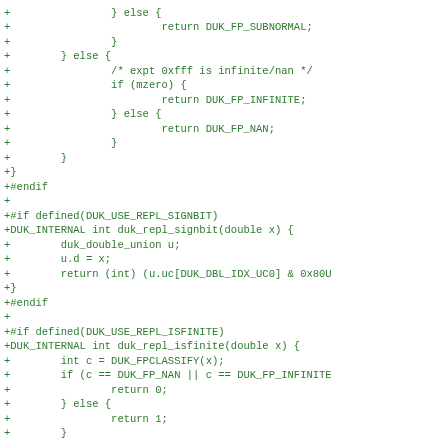Code diff showing C source additions including DUK_FP_SUBNORMAL return, } else { block with expt 0xfff infinite/nan comment, if (mzero) return DUK_FP_INFINITE else return DUK_FP_NAN, closing braces, +#endif, +#if defined(DUK_USE_REPL_SIGNBIT), +DUK_INTERNAL int duk_repl_signbit(double x) {, duk_double_union u, u.d = x, return (int)(u.uc[DUK_DBL_IDX_UC0] & 0x80U, +}, +#endif, +#if defined(DUK_USE_REPL_ISFINITE), +DUK_INTERNAL int duk_repl_isfinite(double x) {, int c = DUK_FPCLASSIFY(x), if (c == DUK_FP_NAN || c == DUK_FP_INFINITE, return 0, } else {, return 1, }